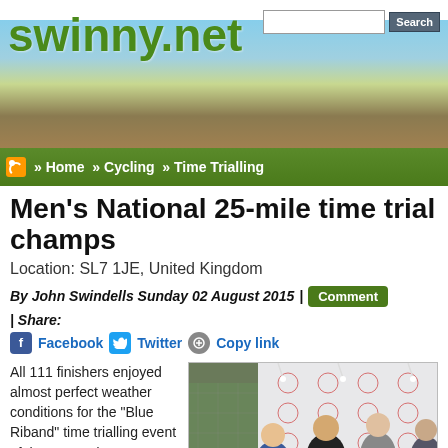swinny.net
» Home » Cycling » Time Trialling
Men's National 25-mile time trial champs
Location: SL7 1JE, United Kingdom
By John Swindells Sunday 02 August 2015 | Comment | Share:
Facebook  Twitter  Copy link
All 111 finishers enjoyed almost perfect weather conditions for the "Blue Riband" time trialling event of the UK, and Ryan Perry (Langdale Lightweights RT) forced the pace on
[Figure (photo): Photo of people at an awards ceremony in front of a branded backdrop, indoors]